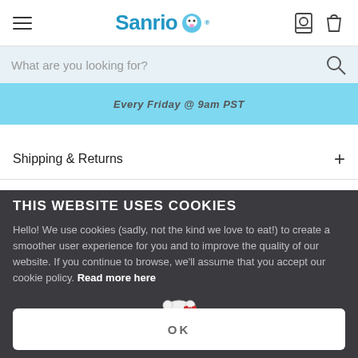[Figure (screenshot): Sanrio website navigation bar with hamburger menu icon, Sanrio logo in blue, account icon, and shopping bag icon]
What are you looking for?
Every Friday @ 9am PST
Shipping & Returns
THIS WEBSITE USES COOKIES
Hello! We use cookies (sadly, not the kind we love to eat!) to create a smoother user experience for you and to improve the quality of our website. If you continue to browse, we'll assume that you accept our cookie policy. Read more here
OK